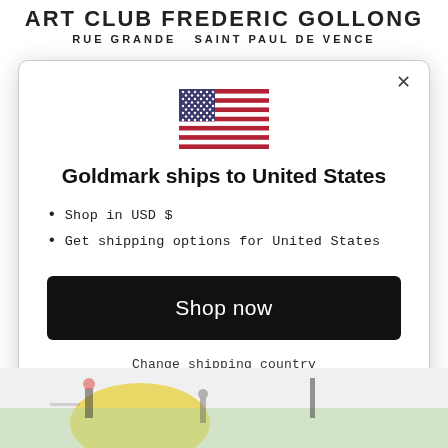ART CLUB FREDERIC GOLLONG
RUE GRANDE  SAINT PAUL DE VENCE
× (close button)
[Figure (illustration): US flag emoji/illustration centered in modal]
Goldmark ships to United States
Shop in USD $
Get shipping options for United States
Shop now
Change shipping country
[Figure (illustration): Colorful children's drawing or artwork visible at bottom of page, showing figures on yellow background with green elements]